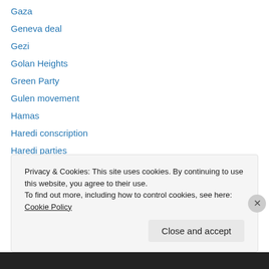Gaza
Geneva deal
Gezi
Golan Heights
Green Party
Gulen movement
Hamas
Haredi conscription
Haredi parties
Hashemi Rafsanjani
Hassan Rouhani
Hatnua
Hezbollah
Privacy & Cookies: This site uses cookies. By continuing to use this website, you agree to their use.
To find out more, including how to control cookies, see here: Cookie Policy
Close and accept